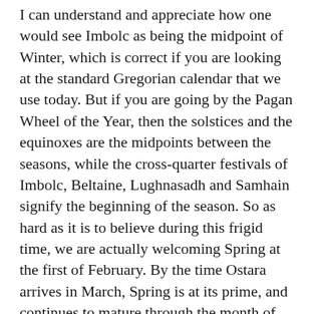I can understand and appreciate how one would see Imbolc as being the midpoint of Winter, which is correct if you are looking at the standard Gregorian calendar that we use today. But if you are going by the Pagan Wheel of the Year, then the solstices and the equinoxes are the midpoints between the seasons, while the cross-quarter festivals of Imbolc, Beltaine, Lughnasadh and Samhain signify the beginning of the season. So as hard as it is to believe during this frigid time, we are actually welcoming Spring at the first of February. By the time Ostara arrives in March, Spring is at its prime, and continues to mature through the month of April, until we arrive at the beginning of Summer which starts on the first day of May, also known as Beltaine.
But nonetheless, I loved your posts, and your ideas for celebrating this Sabbat, and I have shared them with my Facebook friends. Your posts are beautifully written and the photographs are gorgeous. I appreciate that your